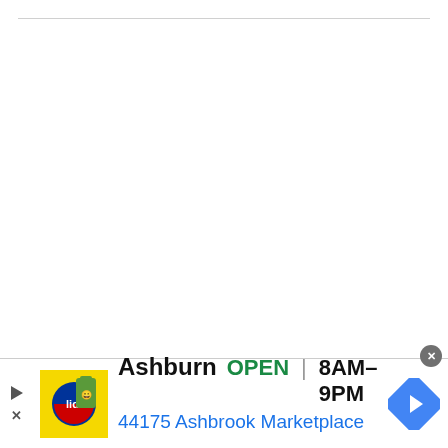[Figure (screenshot): Advertisement banner for Lidl store in Ashburn showing store logo, open status, hours 8AM-9PM, and address 44175 Ashbrook Marketplace with navigation arrow icon]